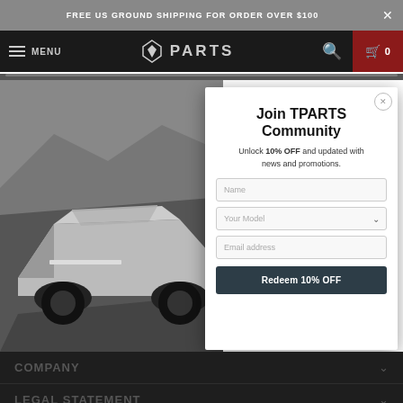FREE US GROUND SHIPPING FOR ORDER OVER $100
MENU | TP PARTS | 0
[Figure (screenshot): Tesla Cybertruck parked on road in desert/mountain background, angular stainless steel body, viewed from front-left angle]
Join TPARTS Community
Unlock 10% OFF and updated with news and promotions.
Name (input field)
Your Model (dropdown)
Email address (input field)
Redeem 10% OFF
COMPANY
LEGAL STATEMENT